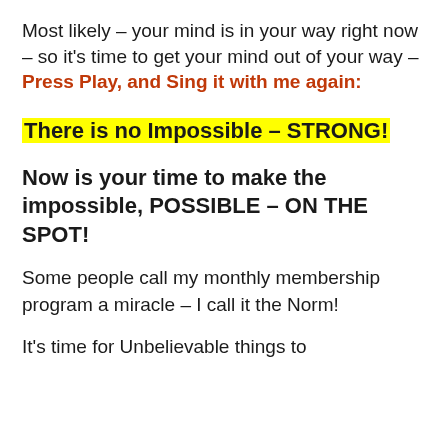Most likely – your mind is in your way right now – so it's time to get your mind out of your way – Press Play, and Sing it with me again:
There is no Impossible – STRONG!
Now is your time to make the impossible, POSSIBLE – ON THE SPOT!
Some people call my monthly membership program a miracle – I call it the Norm!
It's time for Unbelievable things to